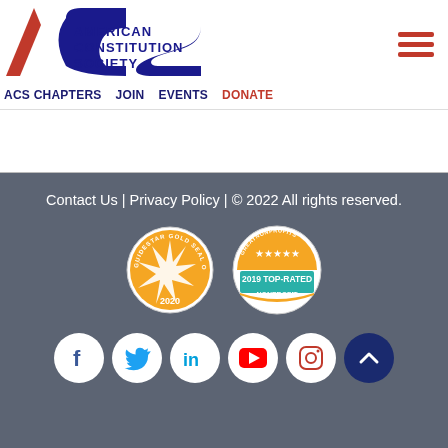[Figure (logo): American Constitution Society logo with ACS letters and full name]
ACS CHAPTERS | JOIN | EVENTS | DONATE
Contact Us | Privacy Policy | © 2022 All rights reserved.
[Figure (logo): GuideStar Gold Seal of Transparency 2020 badge]
[Figure (logo): GreatNonprofits 2019 Top-Rated Nonprofit badge]
[Figure (infographic): Social media icons: Facebook, Twitter, LinkedIn, YouTube, Instagram, and scroll-to-top button]